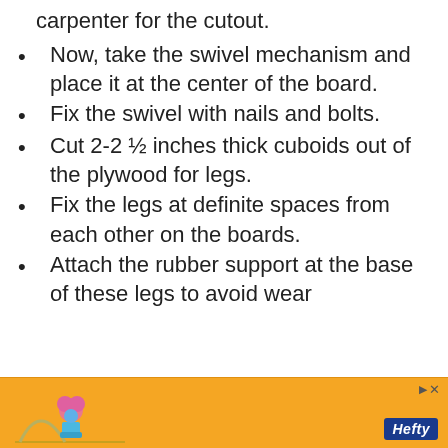carpenter for the cutout.
Now, take the swivel mechanism and place it at the center of the board.
Fix the swivel with nails and bolts.
Cut 2-2 ½ inches thick cuboids out of the plywood for legs.
Fix the legs at definite spaces from each other on the boards.
Attach the rubber support at the base of these legs to avoid wear
[Figure (other): Orange advertisement banner for Hefty brand with a colorful character image on the left and Hefty logo on the right, with a close/skip button at top right.]